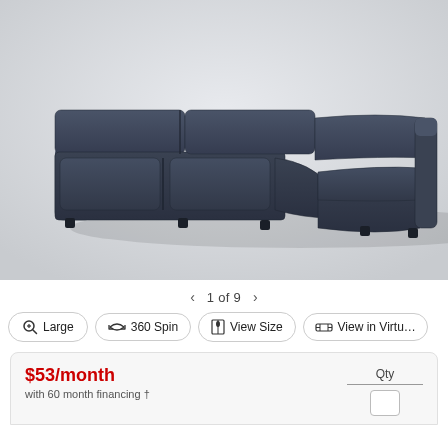[Figure (photo): Dark navy blue curved sectional sofa with reclining seats, photographed against a light grey/white background. The sofa has a curved L-shape with multiple seat sections and padded armrests.]
‹  1 of 9  ›
Large
360 Spin
View Size
View in Virtu…
$53/month
with 60 month financing †
Qty